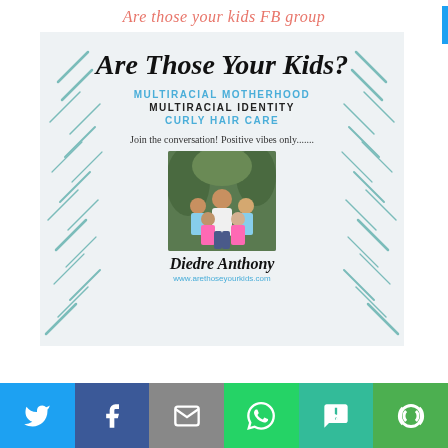Are those your kids FB group
[Figure (infographic): Promotional card for 'Are Those Your Kids?' Facebook group by Diedre Anthony. Light blue-gray background with teal decorative diagonal dashes on sides. Contains bold italic title 'Are Those Your Kids?', subtopics 'MULTIRACIAL MOTHERHOOD', 'MULTIRACIAL IDENTITY', 'CURLY HAIR CARE', tagline 'Join the conversation! Positive vibes only.......', a family photo, author name 'Diedre Anthony', and website www.arethoseyourkids.com]
[Figure (infographic): Social media share bar with Twitter (blue), Facebook (dark blue), Email (gray), WhatsApp (green), SMS (teal-green), and More (green) buttons]